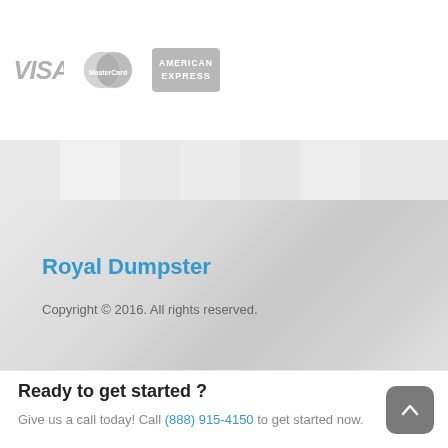[Figure (logo): VISA, MasterCard, and American Express payment logos in gray]
Royal Dumpster
Copyright © 2016. All rights reserved.
Ready to get started ?
Give us a call today! Call (888) 915-4150 to get started now.